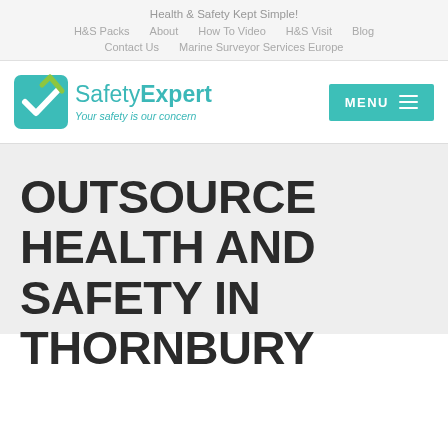Health & Safety Kept Simple!
H&S Packs   About   How To Video   H&S Visit   Blog
Contact Us   Marine Surveyor Services Europe
[Figure (logo): SafetyExpert logo with teal checkmark icon and tagline 'Your safety is our concern']
OUTSOURCE HEALTH AND SAFETY IN THORNBURY